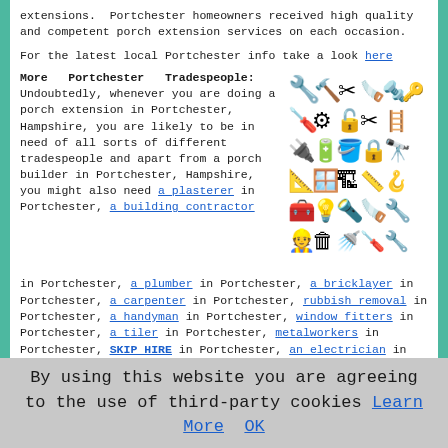extensions. Portchester homeowners received high quality and competent porch extension services on each occasion.
For the latest local Portchester info take a look here
More Portchester Tradespeople: Undoubtedly, whenever you are doing a porch extension in Portchester, Hampshire, you are likely to be in need of all sorts of different tradespeople and apart from a porch builder in Portchester, Hampshire, you might also need a plasterer in Portchester, a building contractor in Portchester, a plumber in Portchester, a bricklayer in Portchester, a carpenter in Portchester, rubbish removal in Portchester, a handyman in Portchester, window fitters in Portchester, a tiler in Portchester, metalworkers in Portchester, SKIP HIRE in Portchester, an electrician in Portchester, and other different Portchester tradesmen.
[Figure (illustration): Black and white clipart of various tradespeople tools and equipment icons arranged in a grid]
Porch specialists in PO16 area, 023/01329.
By using this website you are agreeing to the use of third-party cookies Learn More OK